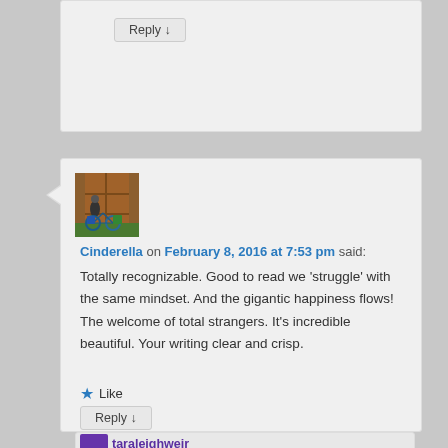Reply ↓
[Figure (photo): Avatar photo showing a person with bicycles leaning against a weathered wooden door]
Cinderella on February 8, 2016 at 7:53 pm said:
Totally recognizable. Good to read we 'struggle' with the same mindset. And the gigantic happiness flows! The welcome of total strangers. It's incredible beautiful. Your writing clear and crisp.
★ Like
Reply ↓
taraleighweir